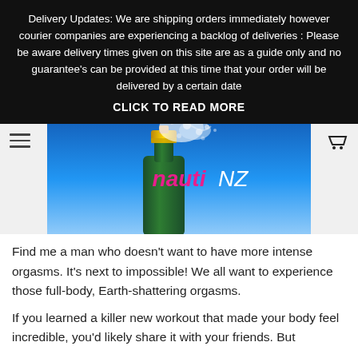Delivery Updates: We are shipping orders immediately however courier companies are experiencing a backlog of deliveries : Please be aware delivery times given on this site are as a guide only and no guarantee's can be provided at this time that your order will be delivered by a certain date CLICK TO READ MORE
[Figure (photo): Champagne bottle being uncorked with spray against blue sky background, with nautiNZ logo overlay]
Find me a man who doesn't want to have more intense orgasms. It's next to impossible! We all want to experience those full-body, Earth-shattering orgasms.
If you learned a killer new workout that made your body feel incredible, you'd likely share it with your friends. But